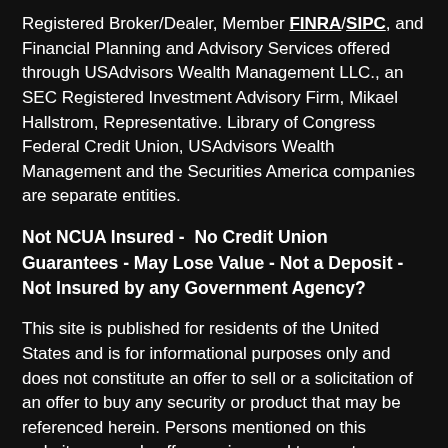Registered Broker/Dealer, Member FINRA/SIPC, and Financial Planning and Advisory Services offered through USAdvisors Wealth Management LLC., an SEC Registered Investment Advisory Firm, Mikael Hallstrom, Representative. Library of Congress Federal Credit Union, USAdvisors Wealth Management and the Securities America companies are separate entities.
Not NCUA Insured - No Credit Union Guarantees - May Lose Value - Not a Deposit - Not Insured by any Government Agency?
This site is published for residents of the United States and is for informational purposes only and does not constitute an offer to sell or a solicitation of an offer to buy any security or product that may be referenced herein. Persons mentioned on this website may only offer services and transact business and/or respond to inquiries in states or jurisdictions in which they have been properly registered or are exempt from registration. Not all products and services referenced on this site are available in every state,